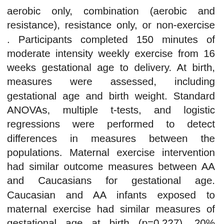aerobic only, combination (aerobic and resistance), resistance only, or non-exercise . Participants completed 150 minutes of moderate intensity weekly exercise from 16 weeks gestational age to delivery. At birth, measures were assessed, including gestational age and birth weight. Standard ANOVAs, multiple t-tests, and logistic regressions were performed to detect differences in measures between the populations. Maternal exercise intervention had similar outcome measures between AA and Caucasians for gestational age. Caucasian and AA infants exposed to maternal exercise had similar measures of gestational age at birth (p=0.227). 20% (6/30) of AA had preterm births relative to 8.5%